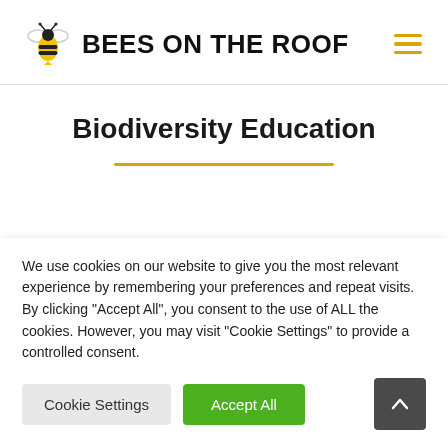[Figure (logo): Bees on the Roof logo with bee icon and bold text 'BEES ON THE ROOF']
Biodiversity Education
We use cookies on our website to give you the most relevant experience by remembering your preferences and repeat visits. By clicking "Accept All", you consent to the use of ALL the cookies. However, you may visit "Cookie Settings" to provide a controlled consent.
Cookie Settings | Accept All